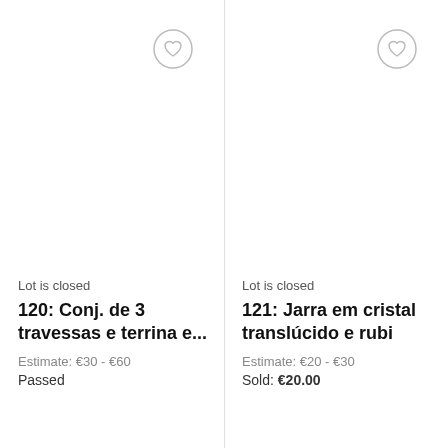Lot is closed
120: Conj. de 3 travessas e terrina e...
Estimate: €30 - €60
Passed
Lot is closed
121: Jarra em cristal translúcido e rubi
Estimate: €20 - €30
Sold: €20.00